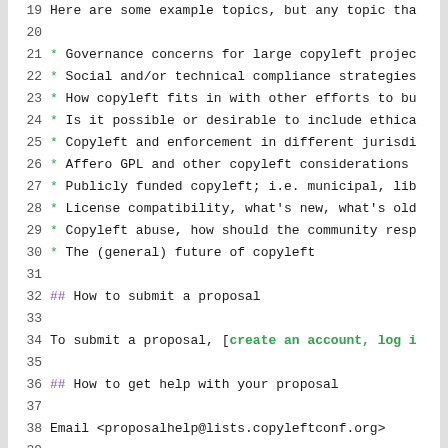19  Here are some example topics, but any topic tha
20
21  * Governance concerns for large copyleft projec
22  * Social and/or technical compliance strategies
23  * How copyleft fits in with other efforts to bu
24  * Is it possible or desirable to include ethica
25  * Copyleft and enforcement in different jurisdi
26  * Affero GPL and other copyleft considerations
27  * Publicly funded copyleft; i.e. municipal, lib
28  * License compatibility, what's new, what's old
29  * Copyleft abuse, how should the community resp
30  * The (general) future of copyleft
31
32  ## How to submit a proposal
33
34  To submit a proposal, [create an account, log i
35
36  ## How to get help with your proposal
37
38  Email <proposalhelp@lists.copyleftconf.org>
39
40  Visit #conservancy on freenode.net
41
42  ## Dates
43